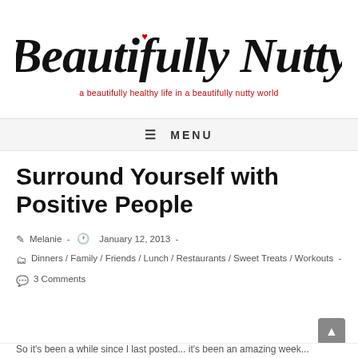[Figure (logo): Beautifully Nutty blog logo — cursive black script text reading 'Beautifully Nutty' with a small red heart above the 'i', and red subtitle text reading 'a beautifully healthy life in a beautifully nutty world']
☰  MENU
Surround Yourself with Positive People
Melanie  -  January 12, 2013  -
Dinners / Family / Friends / Lunch / Restaurants / Sweet Treats / Workouts  -
3 Comments